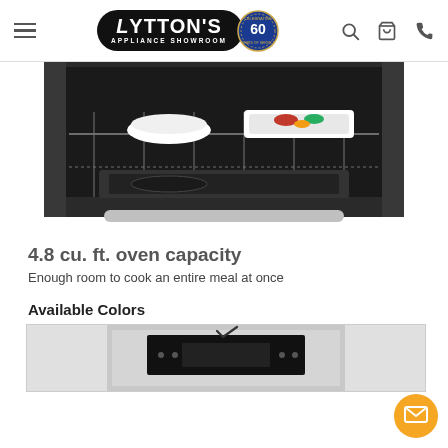Lytton's Appliance Showroom — 60th Anniversary
[Figure (photo): Open oven interior showing two white ceramic baking dishes on the top rack and a broiler pan on the lower rack. Stainless steel oven door handle visible at the bottom.]
4.8 cu. ft. oven capacity
Enough room to cook an entire meal at once
Available Colors
[Figure (photo): Stainless steel oven/range front panel with digital controls and a checkmark icon above the display.]